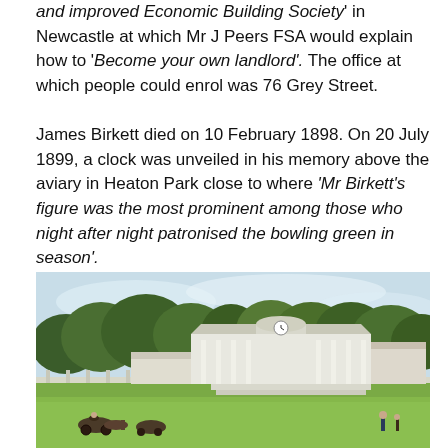and improved Economic Building Society' in Newcastle at which Mr J Peers FSA would explain how to 'Become your own landlord'. The office at which people could enrol was 76 Grey Street.

James Birkett died on 10 February 1898. On 20 July 1899, a clock was unveiled in his memory above the aviary in Heaton Park close to where 'Mr Birkett's figure was the most prominent among those who night after night patronised the bowling green in season'.
[Figure (photo): Historical photograph or postcard of a park pavilion building with ornate Victorian architecture, surrounded by green lawns, trees, and a decorative fence, with people visible in the foreground.]